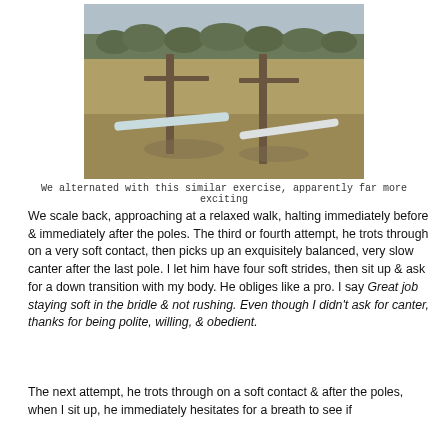[Figure (photo): Outdoor photo of a horse jumping exercise with two white PVC poles on the ground near wooden fence posts in a field with bare trees in the background]
We alternated with this similar exercise, apparently far more exciting
We scale back, approaching at a relaxed walk, halting immediately before & immediately after the poles.  The third or fourth attempt, he trots through on a very soft contact, then picks up an exquisitely balanced, very slow canter after the last pole.  I let him have four soft strides, then sit up & ask for a down transition with my body.  He obliges like a pro.  I say Great job staying soft in the bridle & not rushing.  Even though I didn't ask for canter, thanks for being polite, willing, & obedient.
The next attempt, he trots through on a soft contact & after the poles, when I sit up, he immediately hesitates for a breath to see if